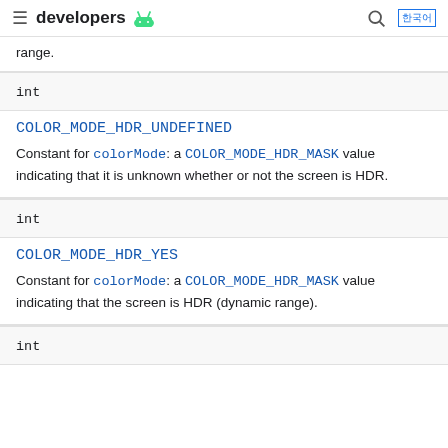developers [android logo]
range.
int
COLOR_MODE_HDR_UNDEFINED
Constant for colorMode: a COLOR_MODE_HDR_MASK value indicating that it is unknown whether or not the screen is HDR.
int
COLOR_MODE_HDR_YES
Constant for colorMode: a COLOR_MODE_HDR_MASK value indicating that the screen is HDR (dynamic range).
int